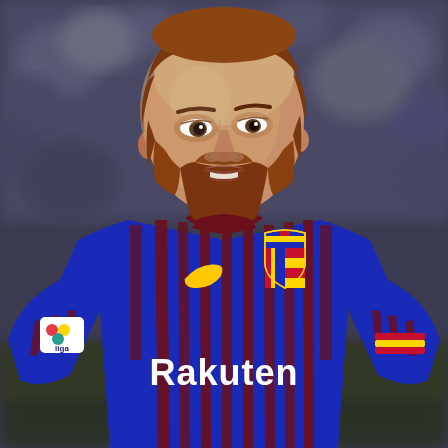[Figure (photo): A photograph of a male footballer with reddish-brown beard and hair, wearing an FC Barcelona home kit with blue and dark red vertical stripes, a yellow Nike swoosh logo, the Rakuten sponsor text across the chest, the FC Barcelona club crest on the right chest, a La Liga patch on the left sleeve, and a red and yellow striped captain's armband on the right sleeve. The player is looking to his right with his mouth slightly open. The background is blurred stadium crowd in dark tones.]